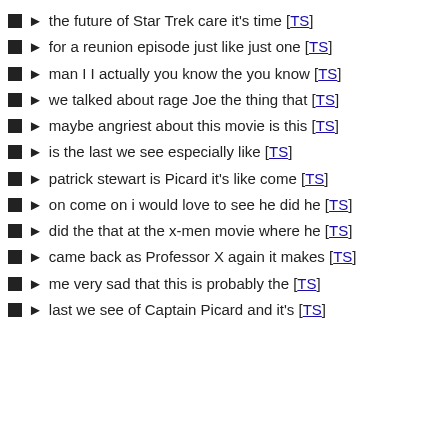the future of Star Trek care it's time [TS]
for a reunion episode just like just one [TS]
man I I actually you know the you know [TS]
we talked about rage Joe the thing that [TS]
maybe angriest about this movie is this [TS]
is the last we see especially like [TS]
patrick stewart is Picard it's like come [TS]
on come on i would love to see he did he [TS]
did the that at the x-men movie where he [TS]
came back as Professor X again it makes [TS]
me very sad that this is probably the [TS]
last we see of Captain Picard and it's [TS]